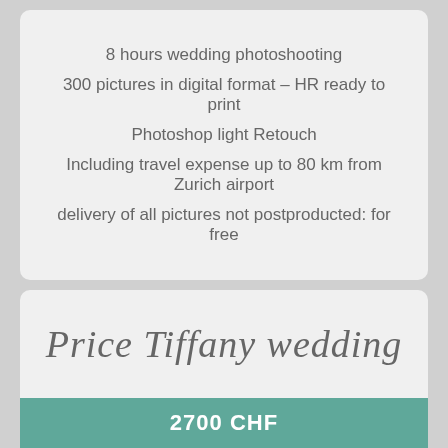8 hours wedding photoshooting
300 pictures in digital format – HR ready to print
Photoshop light Retouch
Including travel expense up to 80 km from Zurich airport
delivery of all pictures not postproducted: for free
Price Tiffany wedding
2700 CHF